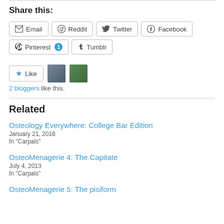Share this:
Email | Reddit | Twitter | Facebook | Pinterest 1 | Tumblr
[Figure (other): Like button with star icon and two blogger avatar thumbnails; text: '2 bloggers like this.']
Related
Osteology Everywhere: College Bar Edition
January 21, 2016
In "Carpals"
OsteoMenagerie 4: The Capitate
July 4, 2013
In "Carpals"
OsteoMenagerie 5: The pisiform